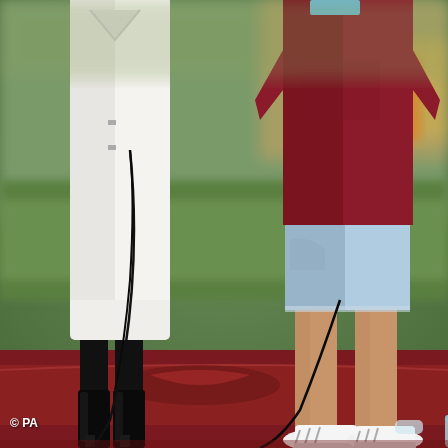[Figure (photo): A photograph taken at a football stadium showing two people standing on a red running track or pitch-side area. On the left is a person wearing a white long coat and black knee-high heeled boots, holding a microphone cable. On the right is a person wearing a claret/maroon West Ham United football shirt and light blue denim cut-off shorts, wearing white Adidas sneakers. The background shows a blurred green football pitch and stadium stands. There is a water bottle on the ground. The image is credited to PA (Press Association).]
© PA